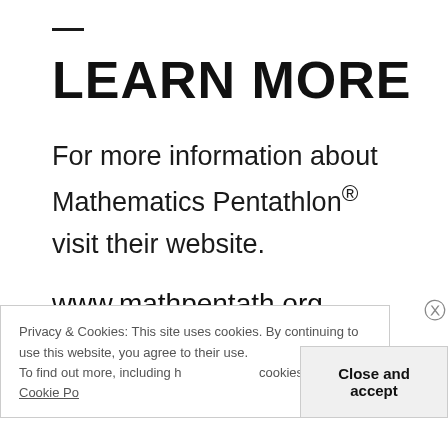LEARN MORE
For more information about Mathematics Pentathlon® visit their website.
www.mathpentath.org
Privacy & Cookies: This site uses cookies. By continuing to use this website, you agree to their use.
To find out more, including how to control cookies, see here: Cookie Policy
Close and accept